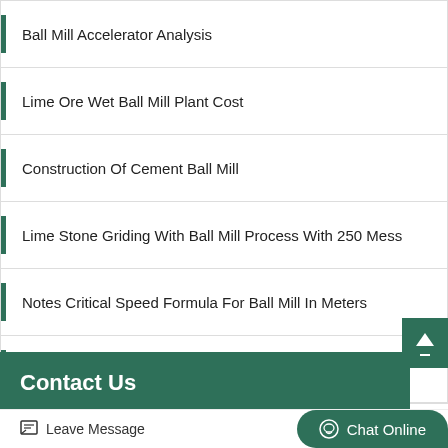Ball Mill Accelerator Analysis
Lime Ore Wet Ball Mill Plant Cost
Construction Of Cement Ball Mill
Lime Stone Griding With Ball Mill Process With 250 Mess
Notes Critical Speed Formula For Ball Mill In Meters
High High Energy Ball Mill India
Contact Us
Leave Message
Chat Online